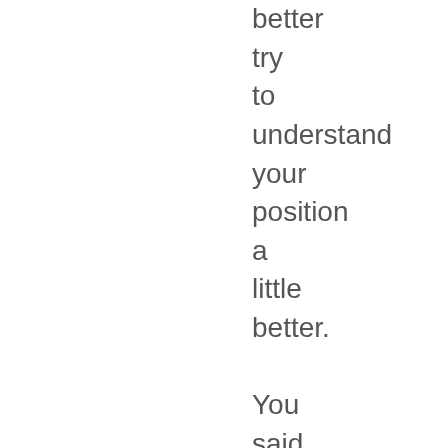better try to understand your position a little better.

You said earlier that repentance is easy and we can't take any credit for it. I assume